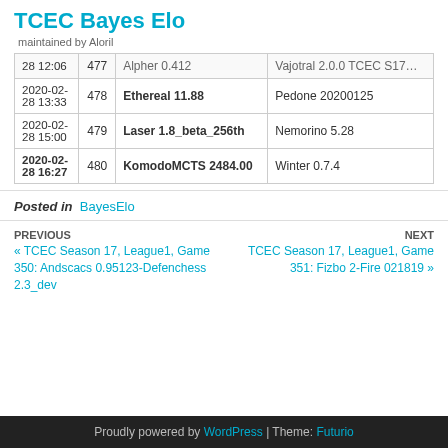TCEC Bayes Elo
maintained by Aloril
| Date | # | White | Black |
| --- | --- | --- | --- |
| 28 12:06 | 477 | Alpher 0.412 | Vajotral 2.0.0 TCEC S17... |
| 2020-02-28 13:33 | 478 | Ethereal 11.88 | Pedone 20200125 |
| 2020-02-28 15:00 | 479 | Laser 1.8_beta_256th | Nemorino 5.28 |
| 2020-02-28 16:27 | 480 | KomodoMCTS 2484.00 | Winter 0.7.4 |
Posted in  BayesElo
PREVIOUS
« TCEC Season 17, League1, Game 350: Andscacs 0.95123-Defenchess 2.3_dev
NEXT
TCEC Season 17, League1, Game 351: Fizbo 2-Fire 021819 »
Proudly powered by WordPress | Theme: Futurio